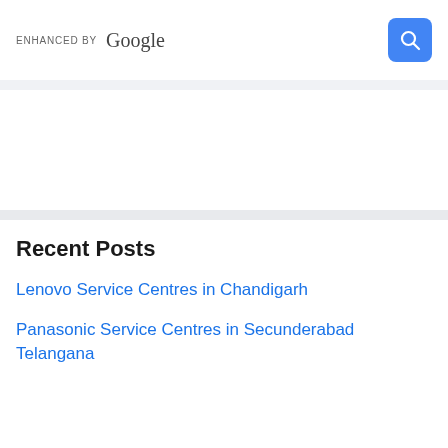[Figure (screenshot): Google custom search bar with 'ENHANCED BY Google' label on left and blue search button with magnifying glass icon on right]
Recent Posts
Lenovo Service Centres in Chandigarh
Panasonic Service Centres in Secunderabad Telangana